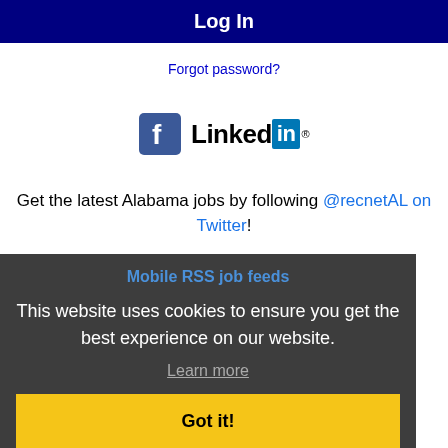Log In
Forgot password?
[Figure (logo): Facebook logo icon and LinkedIn logo side by side]
Get the latest Alabama jobs by following @recnetAL on Twitter!
Mobile RSS job feeds
This website uses cookies to ensure you get the best experience on our website.
Learn more
Got it!
JOB SEEKERS
Search Mobile jobs